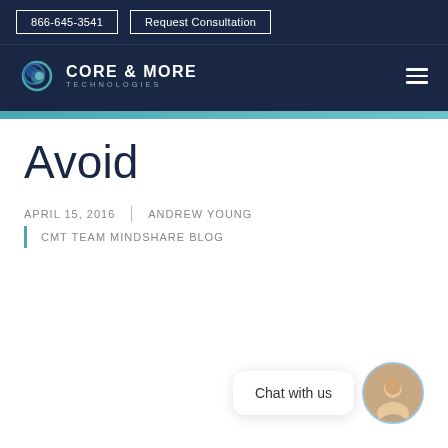866-645-3541 | Request Consultation
[Figure (logo): Core & More Technologies logo with globe icon and company name]
Avoid
APRIL 15, 2016 | ANDREW YOUNG
CMT TEAM MINDSHARE BLOG
[Figure (photo): Chat with us widget showing a smiling woman avatar]